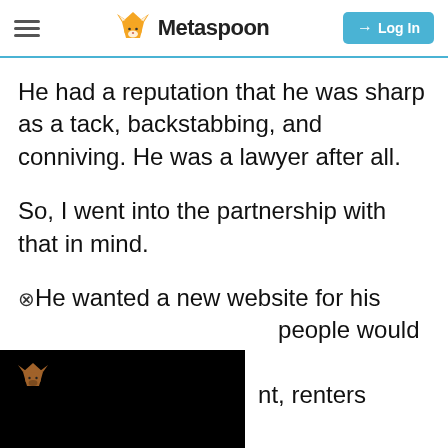Metaspoon | Log In
He had a reputation that he was sharp as a tack, backstabbing, and conniving. He was a lawyer after all.
So, I went into the partnership with that in mind.
⊗He wanted a new website for his [obscured] people would list [obscured]nt, renters would [obscured]subscription to the
[Figure (screenshot): Black overlay box with small orange fox logo icon, partially obscuring article text]